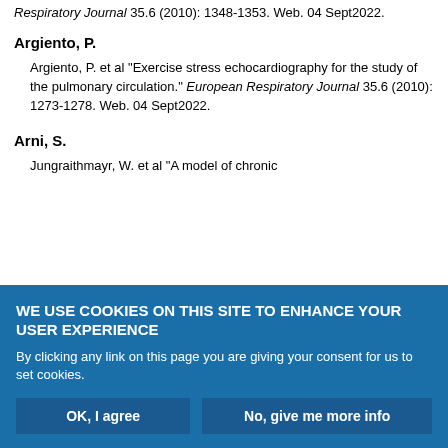Respiratory Journal 35.6 (2010): 1348-1353. Web. 04 Sept2022.
Argiento, P.
Argiento, P. et al "Exercise stress echocardiography for the study of the pulmonary circulation." European Respiratory Journal 35.6 (2010): 1273-1278. Web. 04 Sept2022.
Arni, S.
Jungraithmayr, W. et al "A model of chronic
WE USE COOKIES ON THIS SITE TO ENHANCE YOUR USER EXPERIENCE
By clicking any link on this page you are giving your consent for us to set cookies.
OK, I agree | No, give me more info